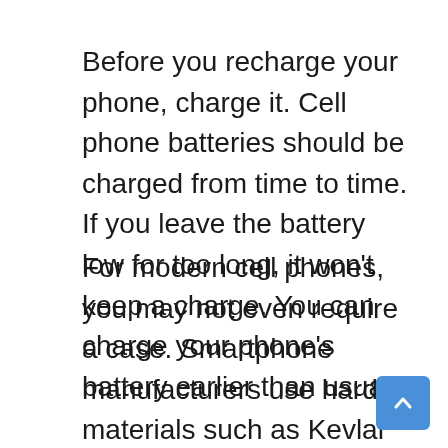Before you recharge your phone, charge it. Cell phone batteries should be charged from time to time. If you leave the battery low for too long, it won't keep a charge. You can charge your phone's battery earlier than usual.
For modern cell phones, you may not even require a case. Smartphone manufacturers use hard materials such as Kevlar and carbon fibers to build their phones. A case can be useful for protecting your phone, but it can also make it difficult to use. Consider what's out there and base your decision on what you have.